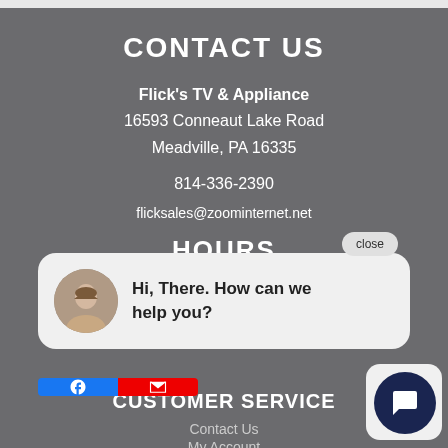CONTACT US
Flick's TV & Appliance
16593 Conneaut Lake Road
Meadville, PA 16335
814-336-2390
flicksales@zoominternet.net
HOURS
Today's Hours: 9:00 AM - 6:00 PM
[Figure (screenshot): Chat popup overlay with avatar photo of a woman and text 'Hi, There. How can we help you?' with a close button and social media icons]
CUSTOMER SERVICE
Contact Us
My Account